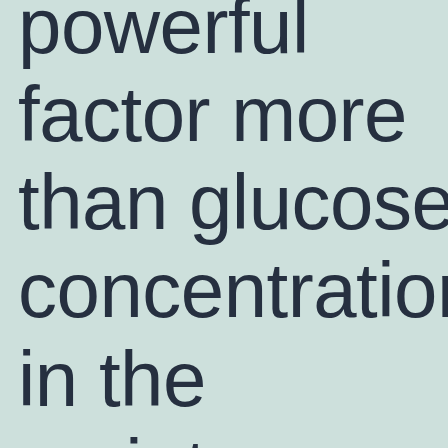powerful factor more than glucose concentration in the maintenance media (with